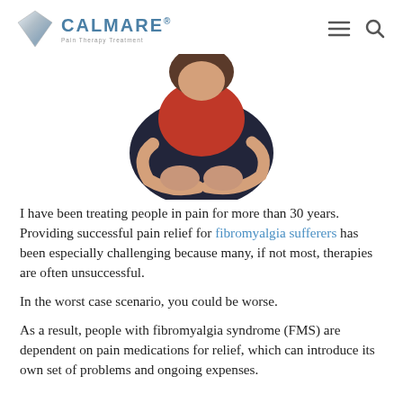CALMARE® Pain Therapy Treatment — navigation header
[Figure (photo): Person in pain hugging their knees, wearing a red top and dark jeans, photographed from the side/above against a white background]
I have been treating people in pain for more than 30 years. Providing successful pain relief for fibromyalgia sufferers has been especially challenging because many, if not most, therapies are often unsuccessful.
In the worst case scenario, you could be worse.
As a result, people with fibromyalgia syndrome (FMS) are dependent on pain medications for relief, which can introduce its own set of problems and ongoing expenses.